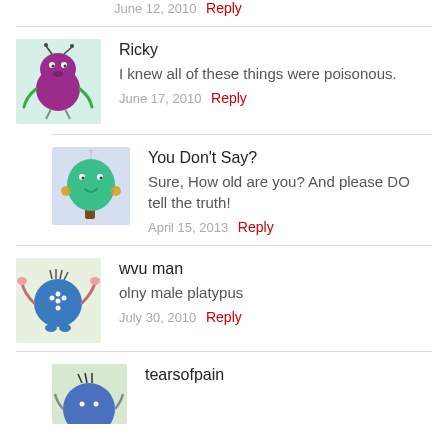June 12, 2010  Reply
Ricky
I knew all of these things were poisonous.
June 17, 2010  Reply
You Don't Say?
Sure, How old are you? And please DO tell the truth!
April 15, 2013  Reply
wvu man
olny male platypus
July 30, 2010  Reply
tearsofpain